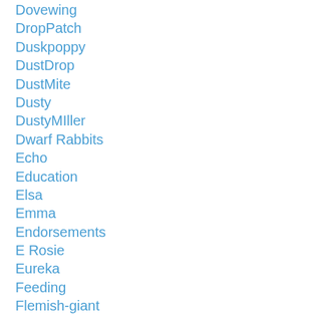Dovewing
DropPatch
Duskpoppy
DustDrop
DustMite
Dusty
DustyMIller
Dwarf Rabbits
Echo
Education
Elsa
Emma
Endorsements
E Rosie
Eureka
Feeding
Flemish-giant
Footsthebill
Forest City Rabbit Club
For Sale
For-sale